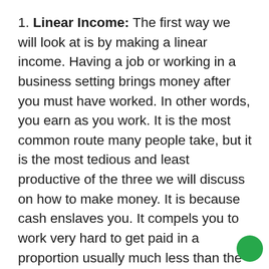1. Linear Income: The first way we will look at is by making a linear income. Having a job or working in a business setting brings money after you must have worked. In other words, you earn as you work. It is the most common route many people take, but it is the most tedious and least productive of the three we will discuss on how to make money. It is because cash enslaves you. It compels you to work very hard to get paid in a proportion usually much less than the amount of work you put in. To avoid going poor, the person that chooses this route will have to work for all the days of his life and hope to one day retire with a meagre pension.